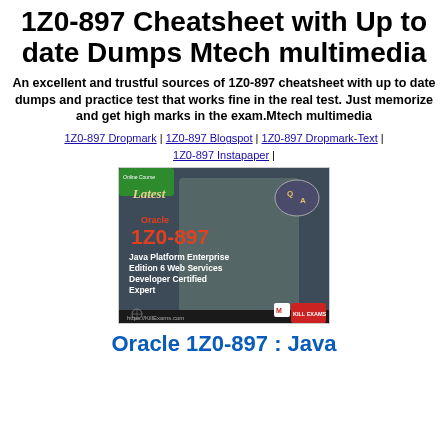1Z0-897 Cheatsheet with Up to date Dumps Mtech multimedia
An excellent and trustful sources of 1Z0-897 cheatsheet with up to date dumps and practice test that works fine in the real test. Just memorize and get high marks in the exam.Mtech multimedia
1Z0-897 Dropmark | 1Z0-897 Blogspot | 1Z0-897 Dropmark-Text | 1Z0-897 Instapaper |
[Figure (illustration): Oracle 1Z0-897 Java Platform Enterprise Edition 6 Web Services Developer Certified Expert exam certification banner from KillExams.com showing a smiling young man and Oracle/Q&A branding]
Oracle 1Z0-897 : Java